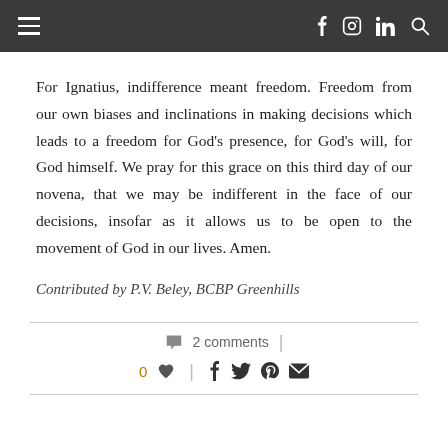☰  f  in  🔍
For Ignatius, indifference meant freedom. Freedom from our own biases and inclinations in making decisions which leads to a freedom for God's presence, for God's will, for God himself. We pray for this grace on this third day of our novena, that we may be indifferent in the face of our decisions, insofar as it allows us to be open to the movement of God in our lives. Amen.
Contributed by P.V. Beley, BCBP Greenhills
💬 2 comments  |  0 ♥  |  f  🐦  📌  ✉